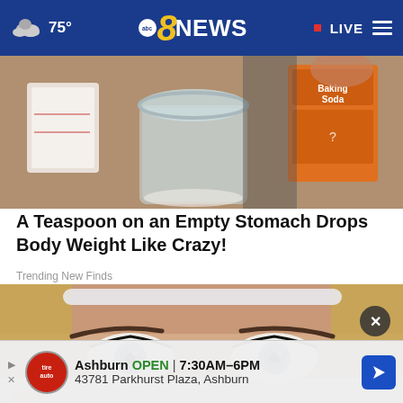75° | abc8NEWS | LIVE
[Figure (photo): Photo of baking soda box, mason jar, and measuring cup on a counter]
A Teaspoon on an Empty Stomach Drops Body Weight Like Crazy!
Trending New Finds
[Figure (photo): Close-up photo of a blonde woman's eyes with white powder on her lower face]
Ashburn OPEN | 7:30AM–6PM
43781 Parkhurst Plaza, Ashburn